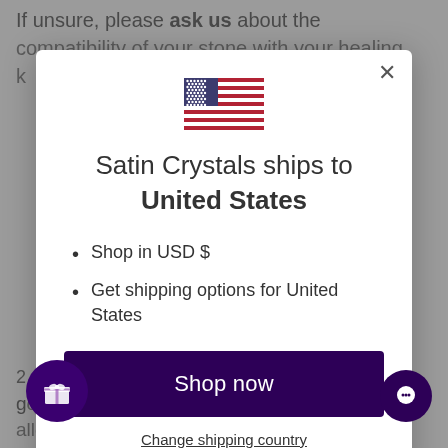If unsure, please ask us about the compatibility of your stone with your healing keep…
[Figure (screenshot): Modal dialog for Satin Crystals shipping country selector with US flag, shipping info, and Shop now button]
grounds the energy back to Source and allows your stone to take a little nap. You can